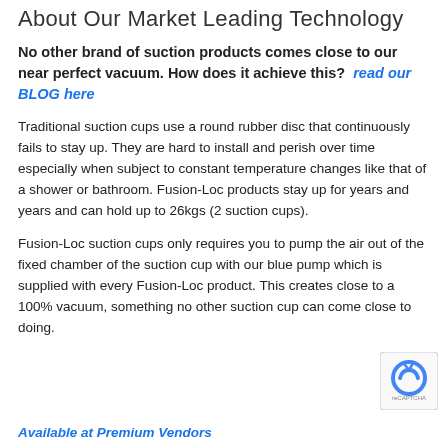About Our Market Leading Technology
No other brand of suction products comes close to our near perfect vacuum. How does it achieve this?  read our BLOG here
Traditional suction cups use a round rubber disc that continuously fails to stay up. They are hard to install and perish over time especially when subject to constant temperature changes like that of a shower or bathroom. Fusion-Loc products stay up for years and years and can hold up to 26kgs (2 suction cups).
Fusion-Loc suction cups only requires you to pump the air out of the fixed chamber of the suction cup with our blue pump which is supplied with every Fusion-Loc product. This creates close to a 100% vacuum, something no other suction cup can come close to doing.
Available at Premium Vendors